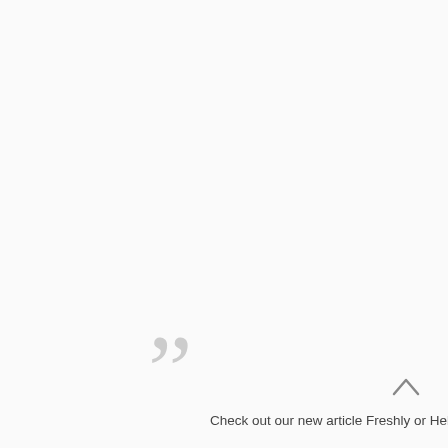”
Check out our new article Freshly or Hello
[Figure (illustration): Up/back-to-top arrow chevron icon, pointing upward, gray color, positioned bottom-right]